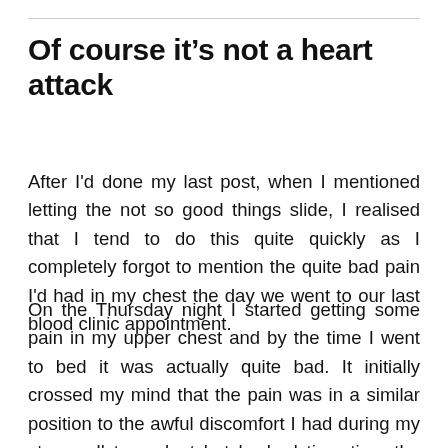Of course it's not a heart attack
After I'd done my last post, when I mentioned letting the not so good things slide, I realised that I tend to do this quite quickly as I completely forgot to mention the quite bad pain I'd had in my chest the day we went to our last blood clinic appointment.
On the Thursday night I started getting some pain in my upper chest and by the time I went to bed it was actually quite bad. It initially crossed my mind that the pain was in a similar position to the awful discomfort I had during my stem cell transplant but by bed time time the pain wasn't just in my upper chest it was also in my shoulders so my